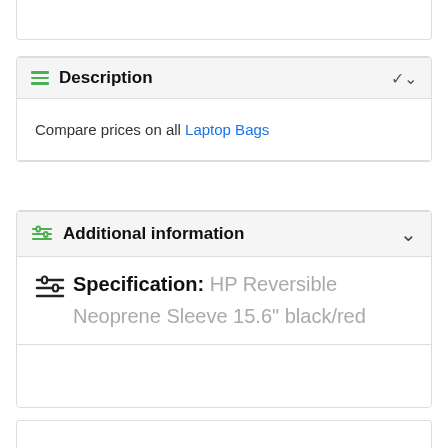Description
Compare prices on all Laptop Bags
Additional information
Specification: HP Reversible Neoprene Sleeve 15.6" black/red